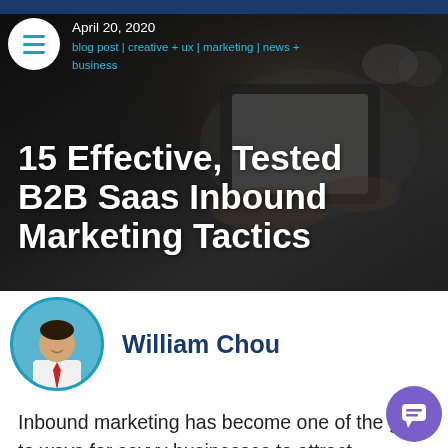April 20, 2020
blog post | creative + ux | marketing | news + business
15 Effective, Tested B2B Saas Inbound Marketing Tactics
William Chou
[Figure (photo): Person holding a tablet/e-reader, background with laptop and glasses visible]
Inbound marketing has become one of the go-to ways for savvy businesses to attract customers. If you're not familiar, the process involves using content that you give away free on the internet to